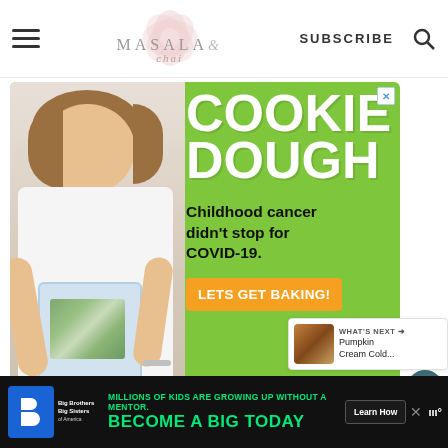MASALA & chai — SUBSCRIBE
[Figure (infographic): Green advertisement for 'Cookies for Kids Cancer' featuring a young girl holding a jar of money. Text reads: COOKIE DOUGH — Childhood cancer didn't stop for COVID-19. LETS GET BAKING! cookies for kids' cancer]
[Figure (infographic): Bottom banner advertisement for Big Brothers Big Sisters: MILLIONS OF KIDS ARE GROWING UP WITHOUT A MENTOR. BECOME A BIG TODAY. Learn How]